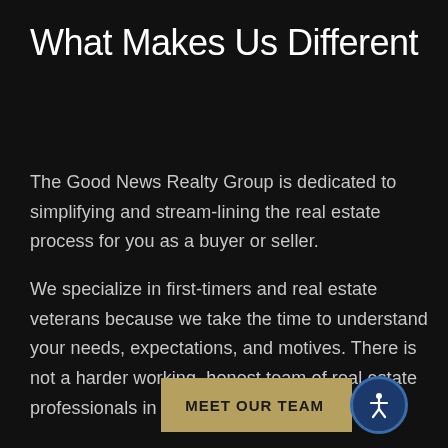What Makes Us Different
The Good News Realty Group is dedicated to simplifying and stream-lining the real estate process for you as a buyer or seller.
We specialize in first-timers and real estate veterans because we take the time to understand your needs, expectations, and motives. There is not a harder working, honest team of real estate professionals in the Boise area.
[Figure (other): Gold 'MEET OUR TEAM' button with a circular blue accessibility icon on the right side, positioned at bottom right of the page.]